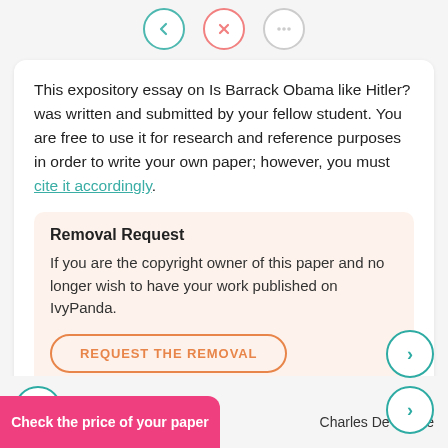[Figure (other): Three circular icon buttons at top: teal, pink/red, and gray outlined circles]
This expository essay on Is Barrack Obama like Hitler? was written and submitted by your fellow student. You are free to use it for research and reference purposes in order to write your own paper; however, you must cite it accordingly.
Removal Request
If you are the copyright owner of this paper and no longer wish to have your work published on IvyPanda.
REQUEST THE REMOVAL
Check the price of your paper
Charles De Gaulle